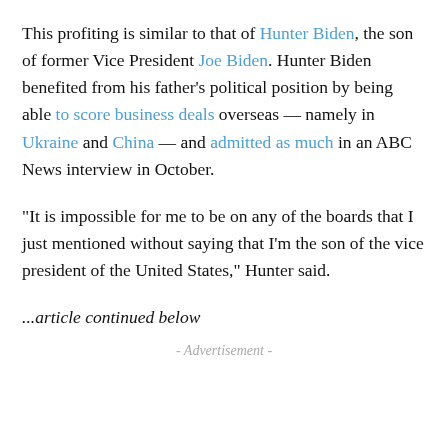This profiting is similar to that of Hunter Biden, the son of former Vice President Joe Biden. Hunter Biden benefited from his father's political position by being able to score business deals overseas — namely in Ukraine and China — and admitted as much in an ABC News interview in October.
“It is impossible for me to be on any of the boards that I just mentioned without saying that I’m the son of the vice president of the United States,” Hunter said.
...article continued below
- Advertisement -